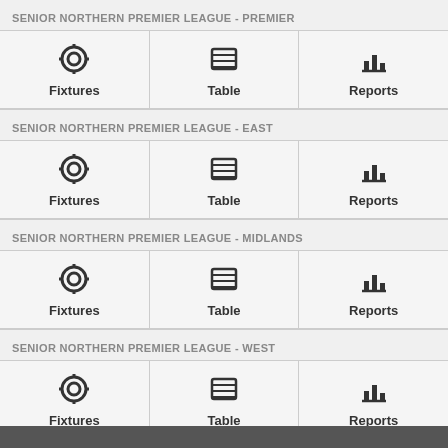SENIOR NORTHERN PREMIER LEAGUE - PREMIER
Fixtures
Table
Reports
SENIOR NORTHERN PREMIER LEAGUE - EAST
Fixtures
Table
Reports
SENIOR NORTHERN PREMIER LEAGUE - MIDLANDS
Fixtures
Table
Reports
SENIOR NORTHERN PREMIER LEAGUE - WEST
Fixtures
Table
Reports